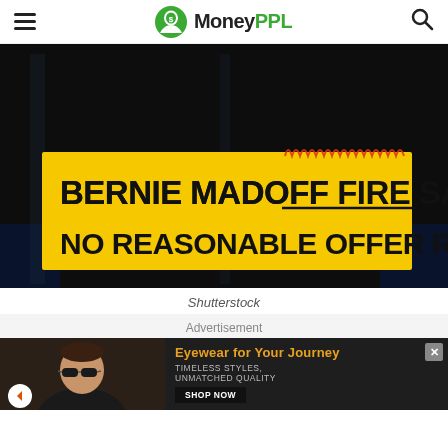MoneyPPL
[Figure (photo): Yellow banner sign reading 'BERNIE MADOFF FIRE SALE! NO REASONABLE OFFER REFUSED' hanging in a dark storefront window]
Shutterstock
Advertisement
[Figure (photo): Advertisement banner: man wearing sunglasses on left, text 'Eyewear for Your Journey. TIMELESS STYLES, UNMATCHED QUALITY' with SHOP NOW button on right]